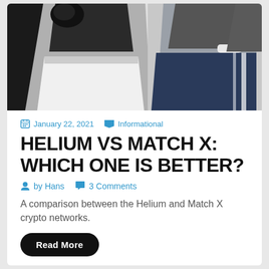[Figure (photo): Two boxers facing each other, one in white shorts on the left and one in dark blue shorts on the right, cropped at torso level against a white background.]
January 22, 2021   Informational
HELIUM VS MATCH X: WHICH ONE IS BETTER?
by Hans   3 Comments
A comparison between the Helium and Match X crypto networks.
Read More